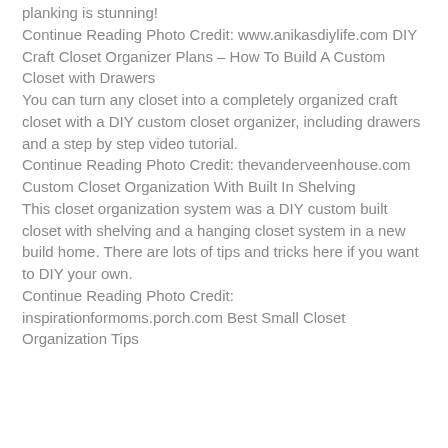planking is stunning!
Continue Reading Photo Credit: www.anikasdiylife.com DIY Craft Closet Organizer Plans – How To Build A Custom Closet with Drawers
You can turn any closet into a completely organized craft closet with a DIY custom closet organizer, including drawers and a step by step video tutorial.
Continue Reading Photo Credit: thevanderveenhouse.com Custom Closet Organization With Built In Shelving
This closet organization system was a DIY custom built closet with shelving and a hanging closet system in a new build home. There are lots of tips and tricks here if you want to DIY your own.
Continue Reading Photo Credit: inspirationformoms.porch.com Best Small Closet Organization Tips